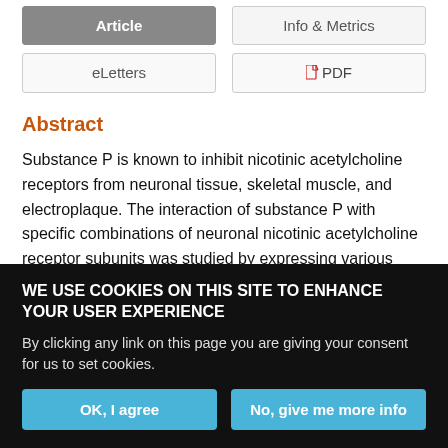Article
Info & Metrics
eLetters
PDF
Abstract
Substance P is known to inhibit nicotinic acetylcholine receptors from neuronal tissue, skeletal muscle, and electroplaque. The interaction of substance P with specific combinations of neuronal nicotinic acetylcholine receptor subunits was studied by expressing various combinations of subunits in Xenopus oocytes. The response to
WE USE COOKIES ON THIS SITE TO ENHANCE YOUR USER EXPERIENCE
By clicking any link on this page you are giving your consent for us to set cookies.
OK, I agree
No, give me more info